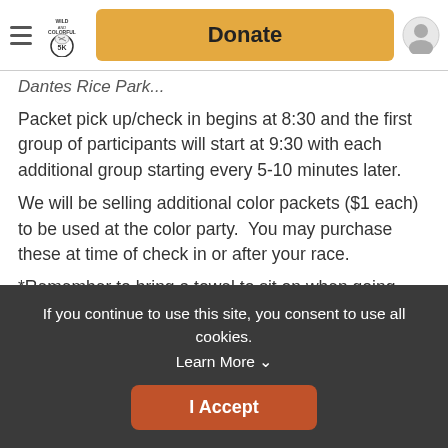Wild and Colorful 5K — Donate
Packet pick up/check in begins at 8:30 and the first group of participants will start at 9:30 with each additional group starting every 5-10 minutes later.
We will be selling additional color packets ($1 each) to be used at the color party.  You may purchase these at time of check in or after your race.
*Remember to bring a towel to sit on when going home and some extra money to enjoy a cool weather Kocoa from our friends at Kona!
If you continue to use this site, you consent to use all cookies. Learn More ∨
I Accept